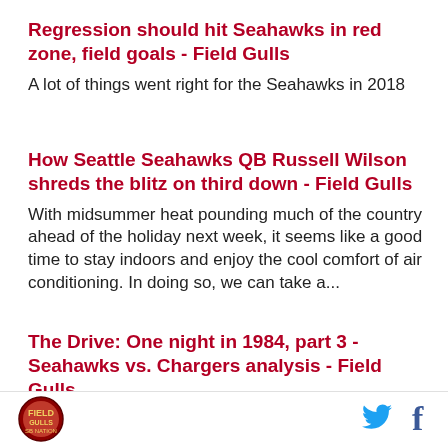Regression should hit Seahawks in red zone, field goals - Field Gulls
A lot of things went right for the Seahawks in 2018
How Seattle Seahawks QB Russell Wilson shreds the blitz on third down - Field Gulls
With midsummer heat pounding much of the country ahead of the holiday next week, it seems like a good time to stay indoors and enjoy the cool comfort of air conditioning. In doing so, we can take a...
The Drive: One night in 1984, part 3 - Seahawks vs. Chargers analysis - Field Gulls
I don't mean to alarm anyone, but this Webster show sure looks an awful lot like Diff'rent Strokes. You may
[Figure (logo): Circular red and gold Field Gulls logo]
[Figure (logo): Twitter bird icon in blue]
[Figure (logo): Facebook f icon in dark blue]